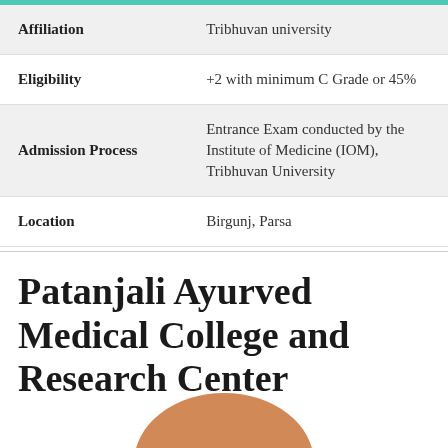| Affiliation | Tribhuvan university |
| Eligibility | +2 with minimum C Grade or 45% |
| Admission Process | Entrance Exam conducted by the Institute of Medicine (IOM), Tribhuvan University |
| Location | Birgunj, Parsa |
Patanjali Ayurved Medical College and Research Center
[Figure (photo): Partial circular image visible at the bottom of the page, likely a college logo or building photo with an orange/brown tone]